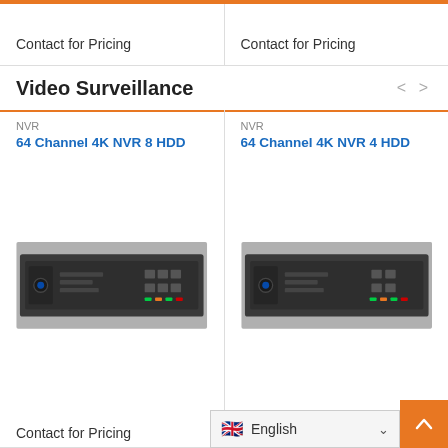Contact for Pricing
Contact for Pricing
Video Surveillance
NVR
64 Channel 4K NVR 8 HDD
[Figure (photo): Front panel of 64 Channel 4K NVR 8 HDD unit, dark metal rack-mount enclosure]
Contact for Pricing
NVR
64 Channel 4K NVR 4 HDD
[Figure (photo): Front panel of 64 Channel 4K NVR 4 HDD unit, dark metal rack-mount enclosure]
Contact for Pricing
English